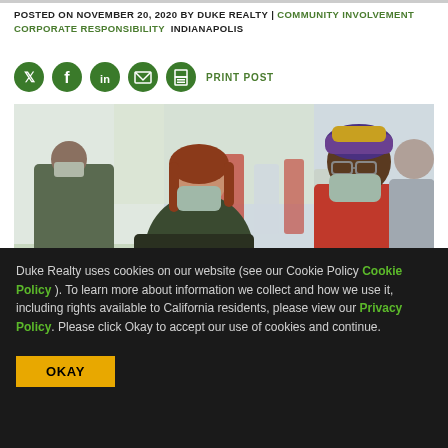POSTED ON NOVEMBER 20, 2020 BY DUKE REALTY | COMMUNITY INVOLVEMENT CORPORATE RESPONSIBILITY  INDIANAPOLIS
[Figure (other): Social media share icons (Twitter, Facebook, LinkedIn, Email, Print) with PRINT POST label]
[Figure (photo): Indoor blood drive scene showing people wearing masks; a healthcare worker in red shirt assists a donor sitting in a reclining chair]
Duke Realty uses cookies on our website (see our Cookie Policy Cookie Policy ). To learn more about information we collect and how we use it, including rights available to California residents, please view our Privacy Policy. Please click Okay to accept our use of cookies and continue.
OKAY